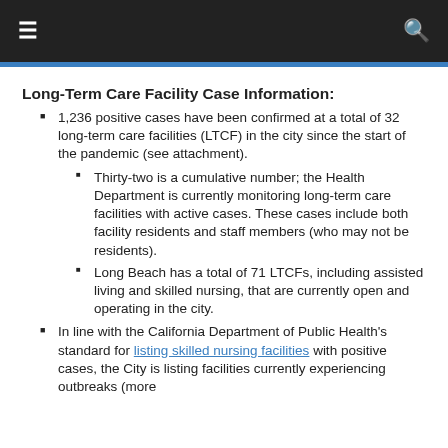≡  🔍
Long-Term Care Facility Case Information:
1,236 positive cases have been confirmed at a total of 32 long-term care facilities (LTCF) in the city since the start of the pandemic (see attachment).
Thirty-two is a cumulative number; the Health Department is currently monitoring long-term care facilities with active cases. These cases include both facility residents and staff members (who may not be residents).
Long Beach has a total of 71 LTCFs, including assisted living and skilled nursing, that are currently open and operating in the city.
In line with the California Department of Public Health's standard for listing skilled nursing facilities with positive cases, the City is listing facilities currently experiencing outbreaks (more than 1 or more of COVID-19) including a count of